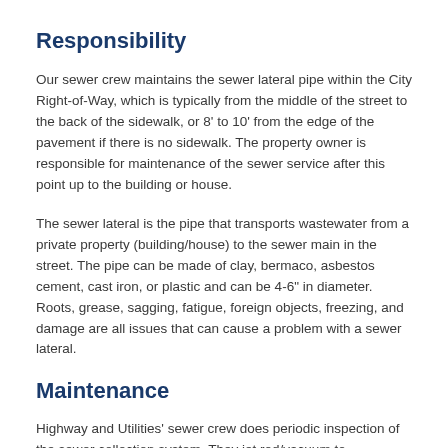Responsibility
Our sewer crew maintains the sewer lateral pipe within the City Right-of-Way, which is typically from the middle of the street to the back of the sidewalk, or 8’ to 10’ from the edge of the pavement if there is no sidewalk. The property owner is responsible for maintenance of the sewer service after this point up to the building or house.
The sewer lateral is the pipe that transports wastewater from a private property (building/house) to the sewer main in the street. The pipe can be made of clay, bermaco, asbestos cement, cast iron, or plastic and can be 4-6” in diameter. Roots, grease, sagging, fatigue, foreign objects, freezing, and damage are all issues that can cause a problem with a sewer lateral.
Maintenance
Highway and Utilities’ sewer crew does periodic inspection of the sewer collection system. They jet rod/vacuum to